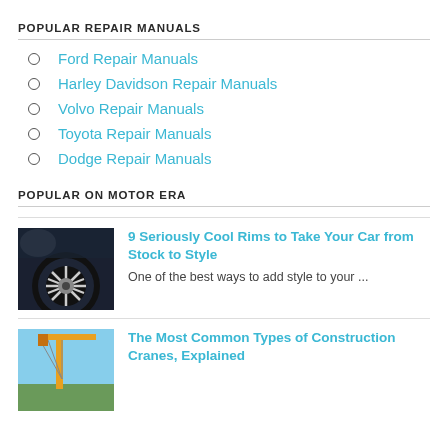POPULAR REPAIR MANUALS
Ford Repair Manuals
Harley Davidson Repair Manuals
Volvo Repair Manuals
Toyota Repair Manuals
Dodge Repair Manuals
POPULAR ON MOTOR ERA
[Figure (photo): Close-up photo of a stylish car rim/wheel]
9 Seriously Cool Rims to Take Your Car from Stock to Style
One of the best ways to add style to your ...
[Figure (photo): Photo of a construction crane against blue sky]
The Most Common Types of Construction Cranes, Explained